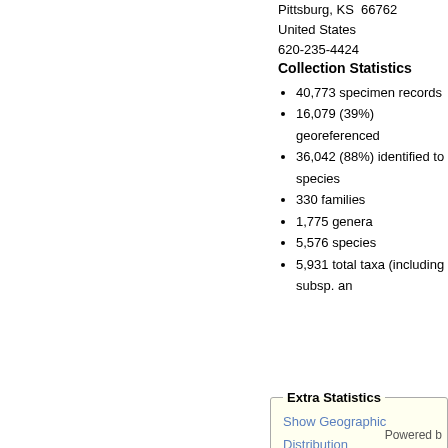Pittsburg, KS  66762
United States
620-235-4424
Collection Statistics
40,773 specimen records
16,079 (39%) georeferenced
36,042 (88%) identified to species
330 families
1,775 genera
5,576 species
5,931 total taxa (including subsp. and...
Extra Statistics
Show Geographic Distribution
Show Family Distribution
Taxon Distribution
Taxon Distribution
Metaxya (1)
Powered b